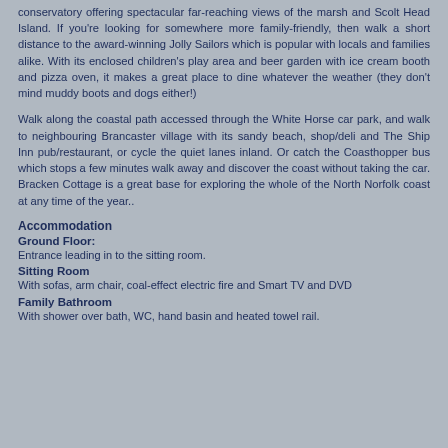conservatory offering spectacular far-reaching views of the marsh and Scolt Head Island. If you're looking for somewhere more family-friendly, then walk a short distance to the award-winning Jolly Sailors which is popular with locals and families alike. With its enclosed children's play area and beer garden with ice cream booth and pizza oven, it makes a great place to dine whatever the weather (they don't mind muddy boots and dogs either!)
Walk along the coastal path accessed through the White Horse car park, and walk to neighbouring Brancaster village with its sandy beach, shop/deli and The Ship Inn pub/restaurant, or cycle the quiet lanes inland. Or catch the Coasthopper bus which stops a few minutes walk away and discover the coast without taking the car. Bracken Cottage is a great base for exploring the whole of the North Norfolk coast at any time of the year..
Accommodation
Ground Floor:
Entrance leading in to the sitting room.
Sitting Room
With sofas, arm chair, coal-effect electric fire and Smart TV and DVD
Family Bathroom
With shower over bath, WC, hand basin and heated towel rail.